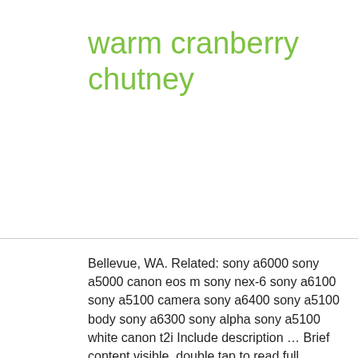warm cranberry chutney
Bellevue, WA. Related: sony a6000 sony a5000 canon eos m sony nex-6 sony a6100 sony a5100 camera sony a6400 sony a5100 body sony a6300 sony alpha sony a5100 white canon t2i Include description … Brief content visible, double tap to read full content. Sony a5000 in very good condition Grip material is a little indented, everything else on the body is in good cosmetic and working condition Glass screen protector is applied on the screen Only the body … Voking 35mm F1.7 Large Aperture Manual Fixed Lens APS-C for Sony E Mount Mirrorless Cameras NEX 3 3N 5 NEX 5T NEX 5R NEX 6 7 A6400 A5000 A5100 A6600 A6000 A6100 A6300 A6500 A3000, MEKE 6.5mm f2.0 Ultra Wide Fisheye Lens for Sony A9 A7III